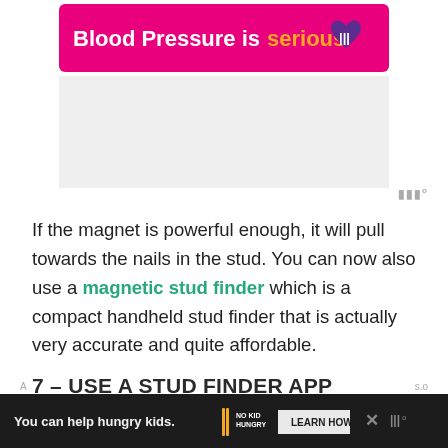[Figure (infographic): Pink/magenta advertisement banner: 'Blood Pressure is serious' with a purple heart icon with exclamation marks]
If the magnet is powerful enough, it will pull towards the nails in the stud. You can now also use a magnetic stud finder which is a compact handheld stud finder that is actually very accurate and quite affordable.
7 – USE A STUD FINDER APP
[Figure (infographic): Dark advertisement banner at bottom: 'You can help hungry kids.' with No Kid Hungry logo and 'LEARN HOW' button]